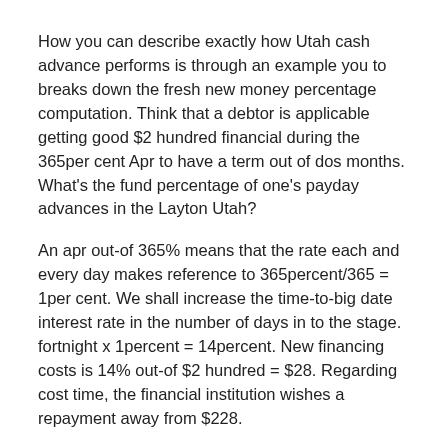How you can describe exactly how Utah cash advance performs is through an example you to breaks down the fresh new money percentage computation. Think that a debtor is applicable getting good $2 hundred financial during the 365per cent Apr to have a term out of dos months. What's the fund percentage of one's payday advances in the Layton Utah?
An apr out-of 365% means that the rate each and every day makes reference to 365percent/365 = 1per cent. We shall increase the time-to-big date interest rate in the number of days in to the stage. fortnight x 1percent = 14percent. New financing costs is 14% out-of $2 hundred = $28. Regarding cost time, the financial institution wishes a repayment away from $228.
Would I must say i You prefer Payday advances Logan Utah Providers?
It's important to apply for such brief credit characteristics and you can things of course there clearly was a bona-fide